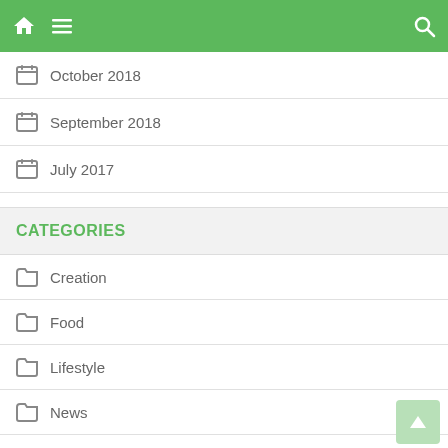Navigation bar with home, menu, and search icons
October 2018
September 2018
July 2017
CATEGORIES
Creation
Food
Lifestyle
News
Recipes
Sports